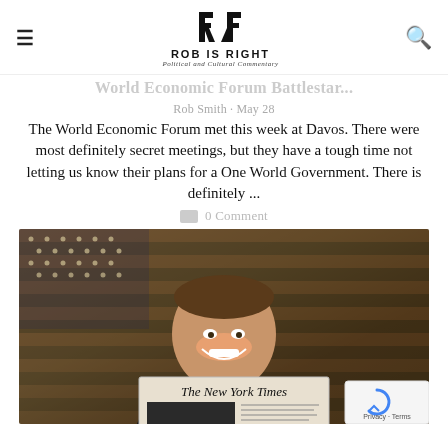ROB IS RIGHT | Political and Cultural Commentary
World Economic Forum Battlestar...
Rob Smith · May 28
The World Economic Forum met this week at Davos. There were most definitely secret meetings, but they have a tough time not letting us know their plans for a One World Government. There is definitely ...
0 Comment
[Figure (photo): A smiling man holding a copy of The New York Times newspaper, standing in front of a distressed American flag background.]